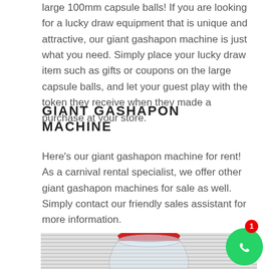large 100mm capsule balls! If you are looking for a lucky draw equipment that is unique and attractive, our giant gashapon machine is just what you need. Simply place your lucky draw item such as gifts or coupons on the large capsule balls, and let your guest play with the token they receive when they made a purchase at your store.
GIANT GASHAPON MACHINE
Here's our giant gashapon machine for rent! As a carnival rental specialist, we offer other giant gashapon machines for sale as well. Simply contact our friendly sales assistant for more information.
[Figure (photo): Photo of a giant gashapon machine with a clear plastic dome and a red top cap, displayed against a striped white background. A WhatsApp chat button with notification badge (1) is visible in the bottom right corner.]